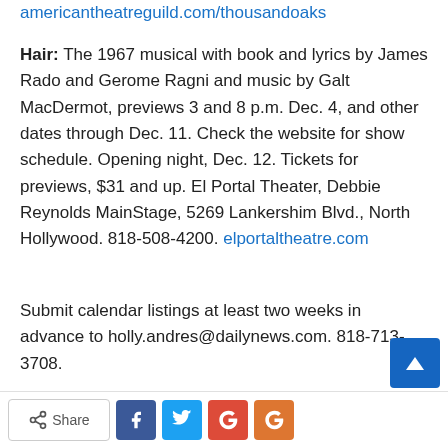americantheatreguild.com/thousandoaks
Hair: The 1967 musical with book and lyrics by James Rado and Gerome Ragni and music by Galt MacDermot, previews 3 and 8 p.m. Dec. 4, and other dates through Dec. 11. Check the website for show schedule. Opening night, Dec. 12. Tickets for previews, $31 and up. El Portal Theater, Debbie Reynolds MainStage, 5269 Lankershim Blvd., North Hollywood. 818-508-4200. elportaltheatre.com
Submit calendar listings at least two weeks in advance to holly.andres@dailynews.com. 818-713-3708.